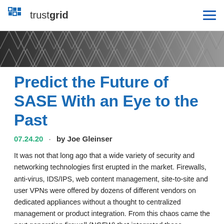trustgrid
[Figure (photo): Geometric pattern banner image with black and white diagonal zigzag/chevron shapes]
Predict the Future of SASE With an Eye to the Past
07.24.20  ·  by Joe Gleinser
It was not that long ago that a wide variety of security and networking technologies first erupted in the market. Firewalls, anti-virus, IDS/IPS, web content management, site-to-site and user VPNs were offered by dozens of different vendors on dedicated appliances without a thought to centralized management or product integration. From this chaos came the next generation firewall (NGFW) that integrated these products into a single platform and management console.
NGFWs quickly dominated the market by offering the specific security features...